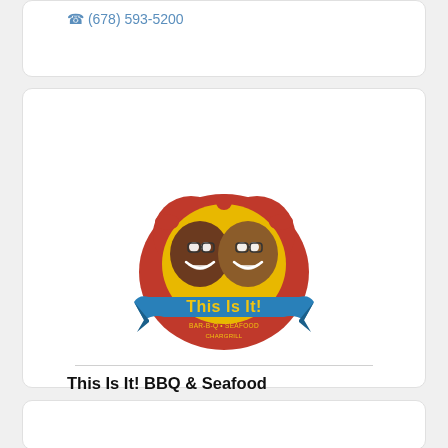(678) 593-5200
[Figure (logo): This Is It! BBQ & Seafood Chargrill restaurant logo with two smiling faces inside a red heart shape and blue banner]
This Is It! BBQ & Seafood
105 McIntosh Crossing, Fayetteville, GA 30214
(770) 527-5767